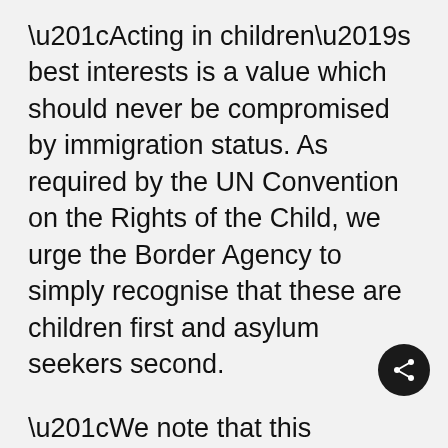“Acting in children’s best interests is a value which should never be compromised by immigration status. As required by the UN Convention on the Rights of the Child, we urge the Border Agency to simply recognise that these are children first and asylum seekers second.
“We note that this proposed programme is aimed at 16 and 17 year olds only. This seems an arbitrary